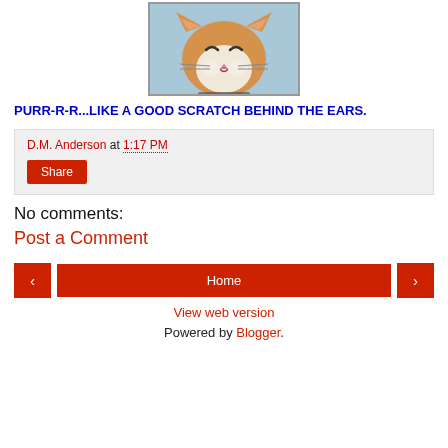[Figure (photo): Photo of an orange and white cat with eyes partly closed, smiling expression, with a blue background and a collar visible.]
PURR-R-R...LIKE A GOOD SCRATCH BEHIND THE EARS.
D.M. Anderson at 1:17 PM
Share
No comments:
Post a Comment
‹ Home ›
View web version
Powered by Blogger.